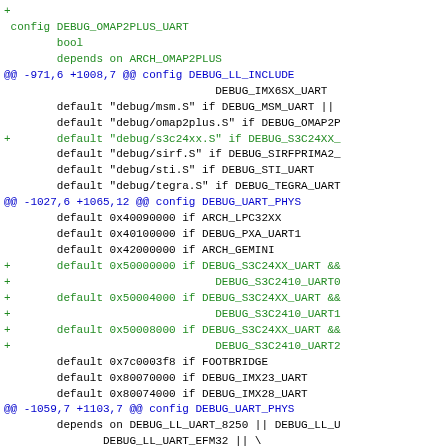diff hunk showing additions and context lines for DEBUG_OMAP2PLUS_UART config and DEBUG_UART_PHYS config in a Linux kernel Kconfig patch file